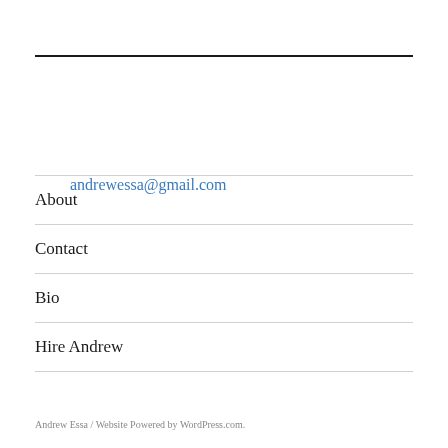andrewessa@gmail.com
About
Contact
Bio
Hire Andrew
Andrew Essa  /  Website Powered by WordPress.com.